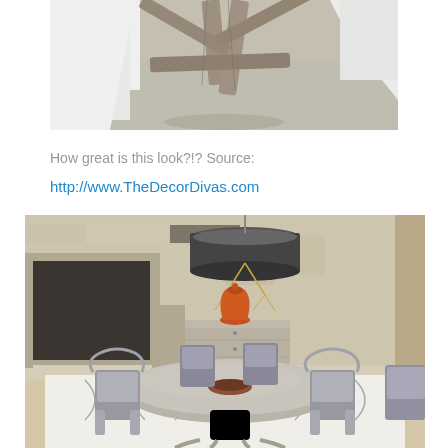[Figure (photo): Close-up of a rustic wooden furniture piece (appears to be a chair or table base) with weathered grey wood, white fabric/cushion, on a textured beige carpet]
How great is this look?!? Source:
http://www.TheDecorDivas.com
[Figure (photo): Dining room with a round grey pedestal table surrounded by grey upholstered chairs with curved backs, on a white patterned rug. Background shows a stone/brick wall, fireplace, sideboard with orange ceramic vase, and a large drum pendant light fixture with brass branch detail.]